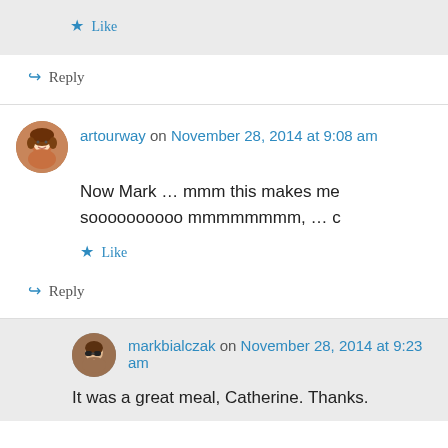★ Like
↪ Reply
artourway on November 28, 2014 at 9:08 am
Now Mark … mmm this makes me soooooooooo mmmmmmmm, … c
★ Like
↪ Reply
markbialczak on November 28, 2014 at 9:23 am
It was a great meal, Catherine. Thanks.